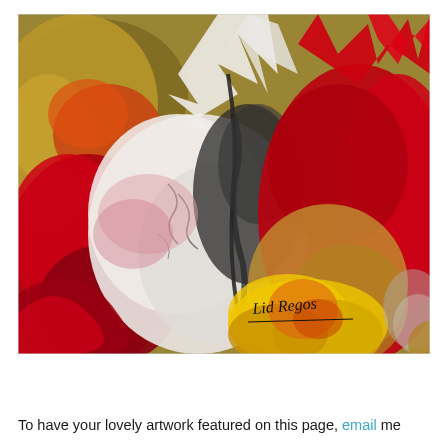[Figure (illustration): Abstract painting with dramatic swirling brushstrokes in red, white, black, gold, and yellow. Textured surface with cracked white areas, deep crimson sweeps, and golden warm tones at the bottom. Artist signature 'Lid Regos' in cursive at lower center with a line underneath.]
To have your lovely artwork featured on this page, email me